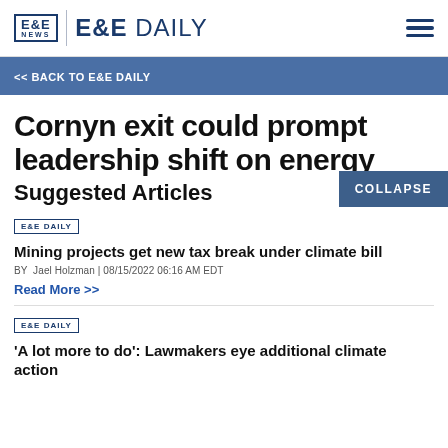E&E NEWS | E&E DAILY
<< BACK TO E&E DAILY
Cornyn exit could prompt leadership shift on energy
Suggested Articles
E&E DAILY
Mining projects get new tax break under climate bill
BY Jael Holzman | 08/15/2022 06:16 AM EDT
Read More >>
E&E DAILY
'A lot more to do': Lawmakers eye additional climate action